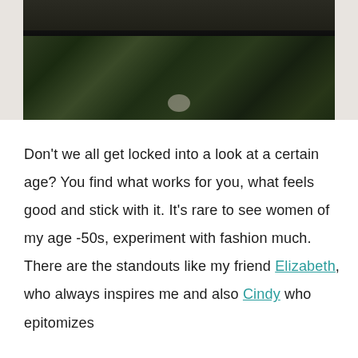[Figure (photo): Close-up photo of a person wearing a black top and dark camouflage-patterned pants, cropped to show torso and legs, with a light beige background.]
Don't we all get locked into a look at a certain age? You find what works for you, what feels good and stick with it. It's rare to see women of my age -50s, experiment with fashion much. There are the standouts like my friend Elizabeth, who always inspires me and also Cindy who epitomizes